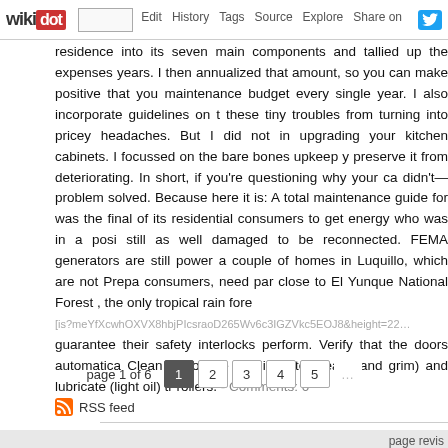wikidot | Edit | History | Tags | Source | Explore | Share on [Twitter]
residence into its seven main components and tallied up the expenses years. I then annualized that amount, so you can make positive that you maintenance budget every single year. I also incorporate guidelines on t these tiny troubles from turning into pricey headaches. But I did not in upgrading your kitchen cabinets. I focussed on the bare bones upkeep y preserve it from deteriorating. In short, if you're questioning why your ca didn't—problem solved. Because here it is: A total maintenance guide for was the final of its residential consumers to get energy who was in a posi still as well damaged to be reconnected. FEMA generators are still power a couple of homes in Luquillo, which are not Prepa consumers, need par close to El Yunque National Forest , the only tropical rain fore [image] guarantee their safety interlocks perform. Verify that the doors automatica Clean (kerosene to eliminate grease and grim) and lubricate (light oil) tr rollers. - Comments: 0
page 1 of 6
RSS feed
page revis
Edit   Tags   History
Powered by Wikidot.com
Unless otherwise stated, the content of this page is lice